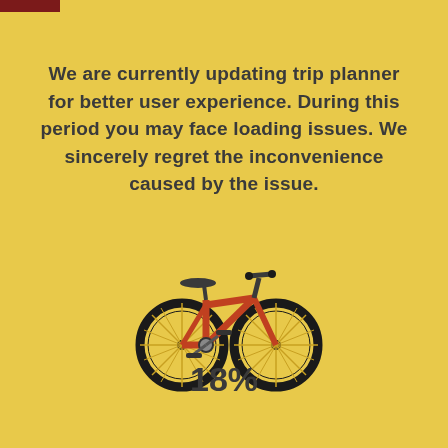We are currently updating trip planner for better user experience. During this period you may face loading issues. We sincerely regret the inconvenience caused by the issue.
[Figure (illustration): A red/orange bicycle illustration centered on a yellow background]
18%